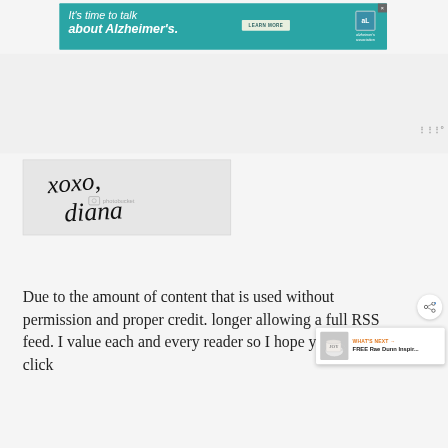[Figure (screenshot): Alzheimer's Association advertisement banner with teal background: 'It's time to talk about Alzheimer's.' with LEARN MORE button and Alzheimer's Association logo]
[Figure (photo): Handwritten cursive signature reading 'xoxo, diana' on gray background with Photobucket watermark]
Due to the amount of content that is used without permission and proper credit. longer allowing a full RSS feed. I value each and every reader so I hope you will click th...
[Figure (infographic): What's Next popup showing FREE Rae Dunn Inspir... with JOY mug image]
[Figure (screenshot): Sandy Hook Promise advertisement: 'Learn the signs to prevent school shootings.' with Sandy Hook Promise tree logo]